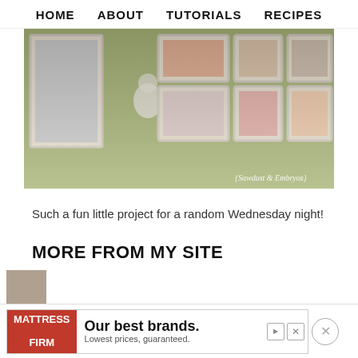HOME   ABOUT   TUTORIALS   RECIPES
[Figure (photo): Photo wall display with white frames containing family photos mounted on a green/yellow wall. Watermark reads '{Sawdust & Embryos}']
Such a fun little project for a random Wednesday night!
MORE FROM MY SITE
[Figure (infographic): Advertisement banner: Mattress Firm logo on red background, text 'Our best brands. Lowest prices, guaranteed.' with play and close buttons.]